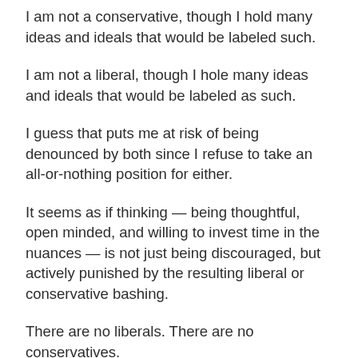I am not a conservative, though I hold many ideas and ideals that would be labeled such.
I am not a liberal, though I hole many ideas and ideals that would be labeled as such.
I guess that puts me at risk of being denounced by both since I refuse to take an all-or-nothing position for either.
It seems as if thinking — being thoughtful, open minded, and willing to invest time in the nuances — is not just being discouraged, but actively punished by the resulting liberal or conservative bashing.
There are no liberals. There are no conservatives.